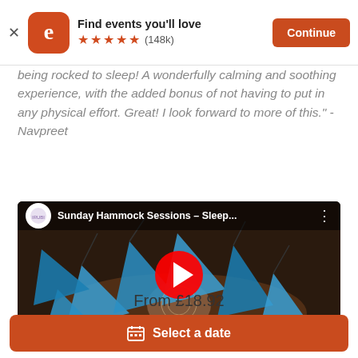[Figure (screenshot): Eventbrite app banner with logo, 'Find events you'll love', 5 stars, (148k) rating, and Continue button]
being rocked to sleep! A wonderfully calming and soothing experience, with the added bonus of not having to put in any physical effort. Great! I look forward to more of this." - Navpreet
[Figure (screenshot): YouTube video thumbnail showing 'Sunday Hammock Sessions - Sleep...' with play button overlay and aerial view of blue hammocks in a circle]
From £18.92
Select a date